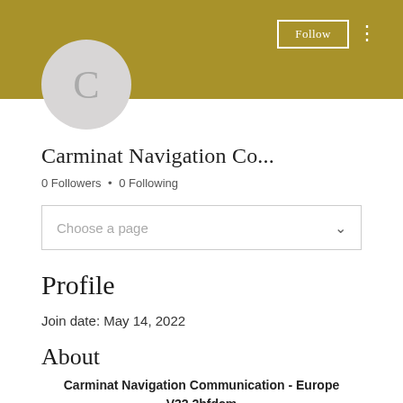[Figure (screenshot): Gold/olive colored header banner with Follow button (white outline) and three-dot menu icon on the right]
[Figure (illustration): Gray circular avatar with the letter C in the center]
Carminat Navigation Co...
0 Followers • 0 Following
Choose a page
Profile
Join date: May 14, 2022
About
Carminat Navigation Communication - Europe V32.2bfdcm